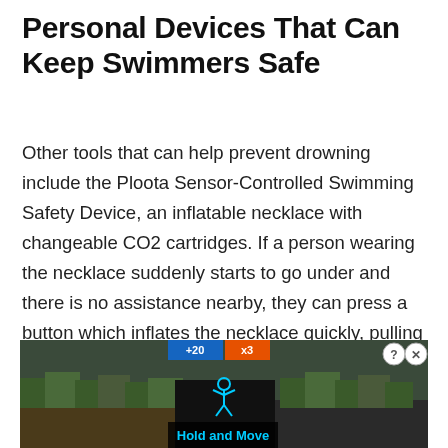Personal Devices That Can Keep Swimmers Safe
Other tools that can help prevent drowning include the Ploota Sensor-Controlled Swimming Safety Device, an inflatable necklace with changeable CO2 cartridges. If a person wearing the necklace suddenly starts to go under and there is no assistance nearby, they can press a button which inflates the necklace quickly, pulling the wearer to the surface of the water and out of danger. The Ploota also
[Figure (screenshot): Advertisement banner showing a dark image with trees in background, a figure icon in the center, a cyan/blue top bar with tabs labeled '+20' and 'x3', a 'Hold and Move' label at the bottom, and close/help buttons (? and X) in the top right corner.]